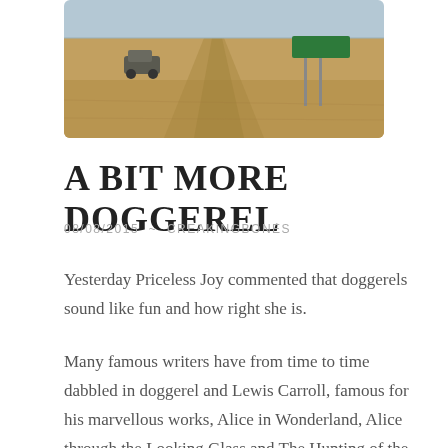[Figure (photo): Photograph of a 4WD vehicle on a flat outback dirt road with a green road sign, under a pale sky and wide open arid landscape.]
A BIT MORE DOGGEREL
08/08/2015  ~  CREAKINGBONES
Yesterday Priceless Joy commented that doggerels sound like fun and how right she is.
Many famous writers have from time to time dabbled in doggerel and Lewis Carroll, famous for his marvellous works, Alice in Wonderland, Alice through the Looking Glass and The Hunting of the Snark was one of the great masters.
Try as I might, I've never been able to memorise